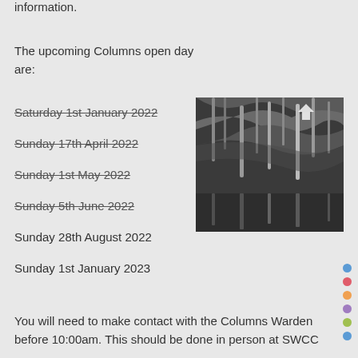information.
The upcoming Columns open day are:
Saturday 1st January 2022 (strikethrough)
Sunday 17th April 2022 (strikethrough)
Sunday 1st May 2022 (strikethrough)
Sunday 5th June 2022 (strikethrough)
Sunday 28th August 2022
Sunday 1st January 2023
[Figure (photo): Black and white photograph of cave columns/stalactites reflected in water, industrial-style pillars visible]
You will need to make contact with the Columns Warden before 10:00am. This should be done in person at SWCC